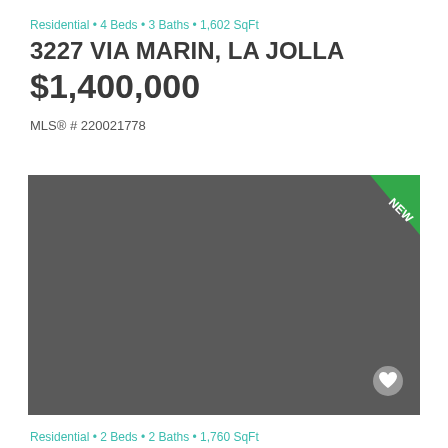Residential • 4 Beds • 3 Baths • 1,602 SqFt
3227 VIA MARIN, LA JOLLA
$1,400,000
MLS® # 220021778
[Figure (photo): Property listing photo placeholder, dark gray background with a green 'NEW' ribbon banner in the top-right corner and a heart/favorite icon in the bottom-right corner]
Residential • 2 Beds • 2 Baths • 1,760 SqFt